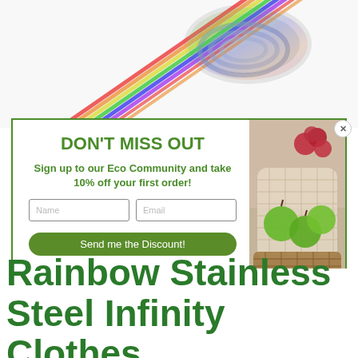[Figure (photo): Rainbow stainless steel straws with colorful metallic sheen, arranged/coiled, against white background, visible at top of page]
[Figure (photo): Modal popup with white left panel and right panel showing eco mesh produce bag containing green apples and red grapes in a wicker basket]
DON'T MISS OUT
Sign up to our Eco Community and take 10% off your first order!
Name
Email
Send me the Discount!
Rainbow Stainless Steel Infinity Clothes